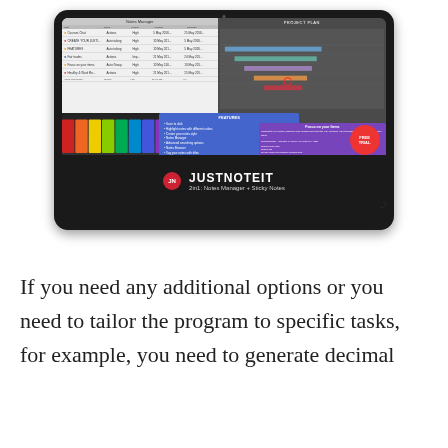[Figure (screenshot): Screenshot of JUSTNOTEIT app inside a laptop mockup showing Notes Manager, Project Plan with Gantt chart, Features panel, Focus on your Items panel, colored pencils, FREE TRIAL badge, JN logo, and tagline '2in1: Notes Manager + Sticky Notes']
If you need any additional options or you need to tailor the program to specific tasks, for example, you need to generate decimal